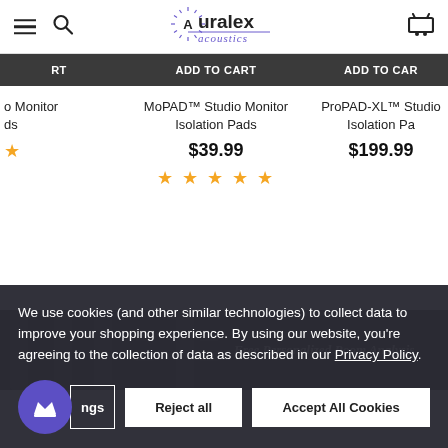Auralex acoustics — navigation header with hamburger menu, search, logo, cart
ADD TO CART (partially visible left button)
ADD TO CART (center button)
ADD TO CAR (partially visible right button)
o Monitor
ds (partially visible left product name)
MoPAD™ Studio Monitor Isolation Pads
ProPAD-XL™ Studio Isolation Pa (partially visible)
$39.99
$199.99 (partially visible)
[Figure (screenshot): Star ratings: 1 star (left, partially visible), 5 stars (center)]
[Figure (photo): Dark banner with studio/recording equipment photo on left side and text 'Free Personalized Room Analysis' on right side]
Free Personalized Room Analysis
We use cookies (and other similar technologies) to collect data to improve your shopping experience. By using our website, you're agreeing to the collection of data as described in our Privacy Policy.
ngs | Reject all | Accept All Cookies